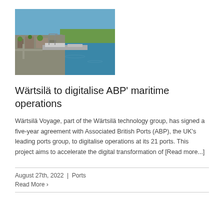[Figure (photo): Aerial photograph of a port/harbour showing docks, ships, waterway, and surrounding urban/green areas]
Wärtsilä to digitalise ABP' maritime operations
Wärtsilä Voyage, part of the Wärtsilä technology group, has signed a five-year agreement with Associated British Ports (ABP), the UK's leading ports group, to digitalise operations at its 21 ports. This project aims to accelerate the digital transformation of [Read more...]
August 27th, 2022  |  Ports
Read More ›